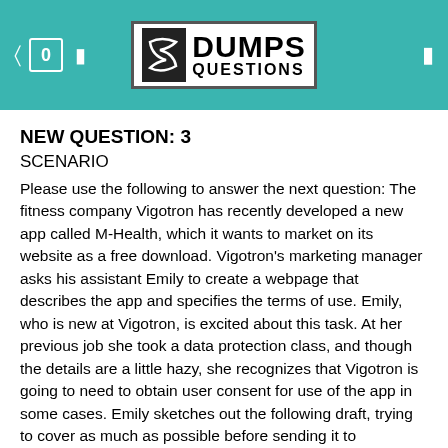[Figure (logo): DumpsQuestions logo with teal header background, showing stylized 'S' icon and bold DUMPS QUESTIONS text]
NEW QUESTION: 3
SCENARIO
Please use the following to answer the next question: The fitness company Vigotron has recently developed a new app called M-Health, which it wants to market on its website as a free download. Vigotron's marketing manager asks his assistant Emily to create a webpage that describes the app and specifies the terms of use. Emily, who is new at Vigotron, is excited about this task. At her previous job she took a data protection class, and though the details are a little hazy, she recognizes that Vigotron is going to need to obtain user consent for use of the app in some cases. Emily sketches out the following draft, trying to cover as much as possible before sending it to Vigotron's legal department. Registration Form